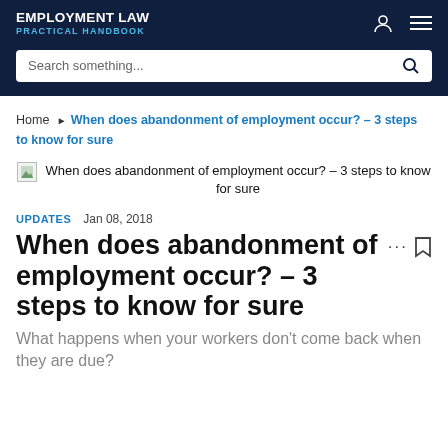EMPLOYMENT LAW PRACTICAL HANDBOOK
Search something...
Home ▶ When does abandonment of employment occur? – 3 steps to know for sure
[Figure (illustration): Featured image thumbnail for article: When does abandonment of employment occur? – 3 steps to know for sure]
UPDATES   Jan 08, 2018
When does abandonment of employment occur? – 3 steps to know for sure
What happens when your workers don’t come back when they are due?